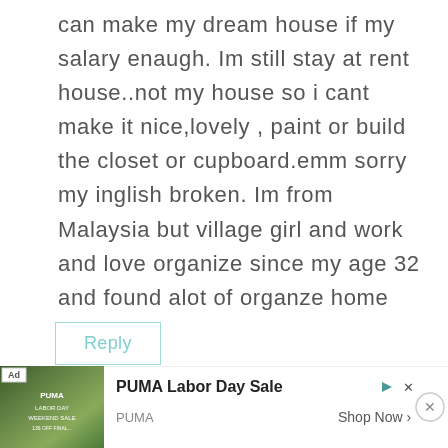can make my dream house if my salary enaugh. Im still stay at rent house..not my house so i cant make it nice,lovely , paint or build the closet or cupboard.emm sorry my inglish broken. Im from Malaysia but village girl and work and love organize since my age 32 and found alot of organze home blog...
Reply
justasgirlabby
[Figure (screenshot): Ad banner for PUMA Labor Day Sale showing PUMA branding with green background image, 'Shop Now' button]